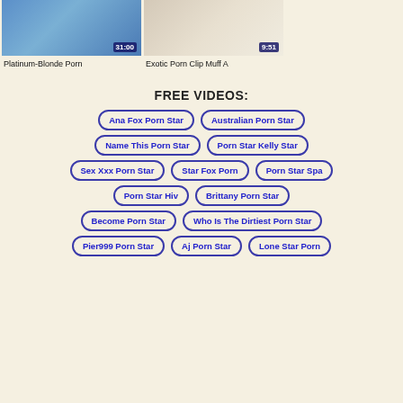[Figure (photo): Two video thumbnails side by side. Left thumbnail shows outdoor pool scene with duration stamp 31:00. Right thumbnail shows indoor white scene with duration stamp 9:51.]
Platinum-Blonde Porn
Exotic Porn Clip Muff A
FREE VIDEOS:
Ana Fox Porn Star
Australian Porn Star
Name This Porn Star
Porn Star Kelly Star
Sex Xxx Porn Star
Star Fox Porn
Porn Star Spa
Porn Star Hiv
Brittany Porn Star
Become Porn Star
Who Is The Dirtiest Porn Star
Pier999 Porn Star
Aj Porn Star
Lone Star Porn